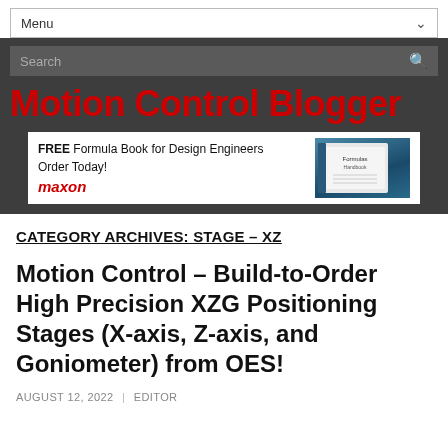Menu
Search
Motion Control Blogger
[Figure (infographic): Maxon advertisement banner: FREE Formula Book for Design Engineers Order Today! with maxon logo and image of a formula handbook book]
CATEGORY ARCHIVES: STAGE – XZ
Motion Control – Build-to-Order High Precision XZG Positioning Stages (X-axis, Z-axis, and Goniometer) from OES!
AUGUST 12, 2022 | EDITOR